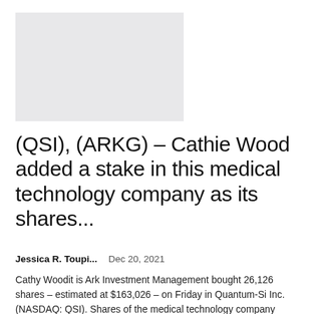[Figure (photo): Placeholder image rectangle with light gray background, no visible content]
(QSI), (ARKG) – Cathie Wood added a stake in this medical technology company as its shares...
Jessica R. Toupi...   Dec 20, 2021
Cathy Woodit is Ark Investment Management bought 26,126 shares – estimated at $163,026 – on Friday in Quantum-Si Inc. (NASDAQ: QSI). Shares of the medical technology company closed up 6.12% at $6.24 per share. The title is down...